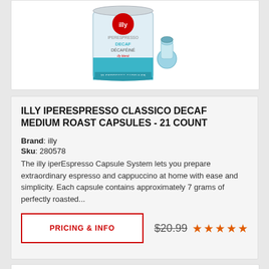[Figure (photo): illy iperEspresso Decaf capsule can with a single capsule beside it]
ILLY IPERESPRESSO CLASSICO DECAF MEDIUM ROAST CAPSULES - 21 COUNT
Brand: illy
Sku: 280578
The illy iperEspresso Capsule System lets you prepare extraordinary espresso and cappuccino at home with ease and simplicity. Each capsule contains approximately 7 grams of perfectly roasted...
PRICING & INFO  $20.99  ★★★★★